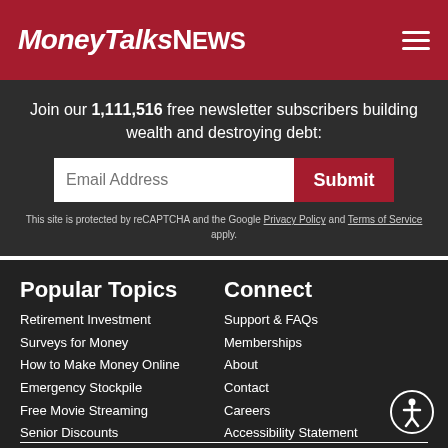MoneyTalksNews
Join our 1,111,516 free newsletter subscribers building wealth and destroying debt:
Email Address
Submit
This site is protected by reCAPTCHA and the Google Privacy Policy and Terms of Service apply.
Popular Topics
Connect
Retirement Investment
Surveys for Money
How to Make Money Online
Emergency Stockpile
Free Movie Streaming
Senior Discounts
Support & FAQs
Memberships
About
Contact
Careers
Accessibility Statement